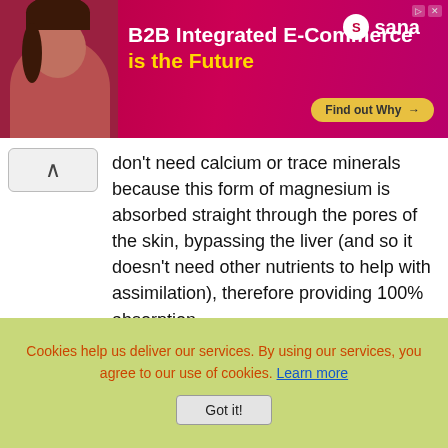[Figure (other): Advertisement banner for Sana B2B Integrated E-Commerce with woman image and 'Find out Why' button]
don't need calcium or trace minerals because this form of magnesium is absorbed straight through the pores of the skin, bypassing the liver (and so it doesn't need other nutrients to help with assimilation), therefore providing 100% absorption.
A combination of a transdermal magnesium spray, coral calcium and ACV will give you all the calcium, magnesium and potassium you need to fix your eye twitching (and any other muscle spasms you may be suffering from) for good.
Finally, if you're interested in making up your own transdermal magnesium spray, rather
Cookies help us deliver our services. By using our services, you agree to our use of cookies. Learn more
Got it!